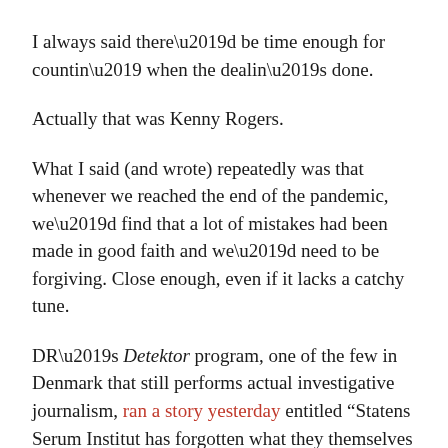I always said there’d be time enough for countin’ when the dealin’s done.
Actually that was Kenny Rogers.
What I said (and wrote) repeatedly was that whenever we reached the end of the pandemic, we’d find that a lot of mistakes had been made in good faith and we’d need to be forgiving. Close enough, even if it lacks a catchy tune.
DR’s Detektor program, one of the few in Denmark that still performs actual investigative journalism, ran a story yesterday entitled “Statens Serum Institut has forgotten what they themselves said about the mutated virus in minks.”